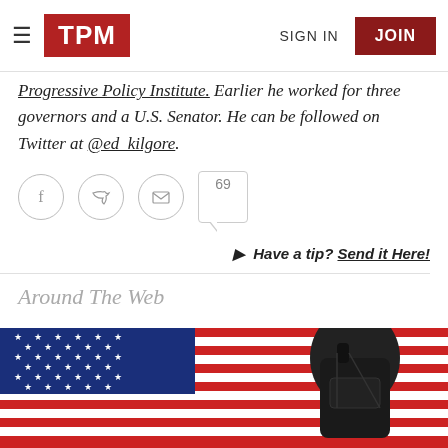TPM | SIGN IN | JOIN
Progressive Policy Institute. Earlier he worked for three governors and a U.S. Senator. He can be followed on Twitter at @ed_kilgore.
[Figure (infographic): Social sharing icons row: Facebook, Twitter, Email circles, and comment count box showing 69]
Have a tip? Send it Here!
Around The Web
[Figure (photo): American flag background with a black backpack/bag in the foreground]